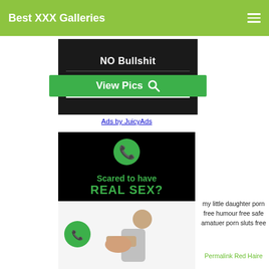Best XXX Galleries
[Figure (screenshot): Ad banner: black background with 'NO Bullshit' text, divider, green 'View Pics' button with magnifying glass icon, and 'Ads by JuicyAds' link below]
Ads by JuicyAds
[Figure (screenshot): Ad image: Black background top half showing WhatsApp logo bubble and green text 'Scared to have REAL SEX?'; bottom half shows illustrated cartoon of two people]
my little daughter porn free humour free safe amatuer porn sluts free
Permalink Red Haire